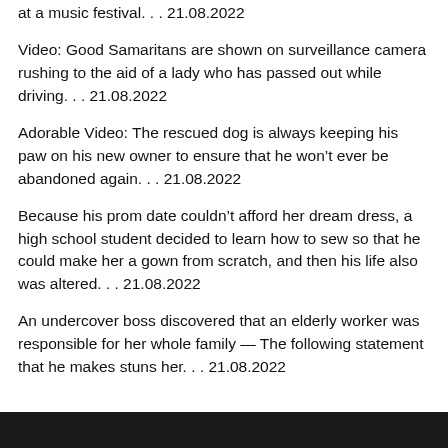at a music festival. . . 21.08.2022
Video: Good Samaritans are shown on surveillance camera rushing to the aid of a lady who has passed out while driving. . . 21.08.2022
Adorable Video: The rescued dog is always keeping his paw on his new owner to ensure that he won't ever be abandoned again. . . 21.08.2022
Because his prom date couldn't afford her dream dress, a high school student decided to learn how to sew so that he could make her a gown from scratch, and then his life also was altered. . . 21.08.2022
An undercover boss discovered that an elderly worker was responsible for her whole family — The following statement that he makes stuns her. . . 21.08.2022